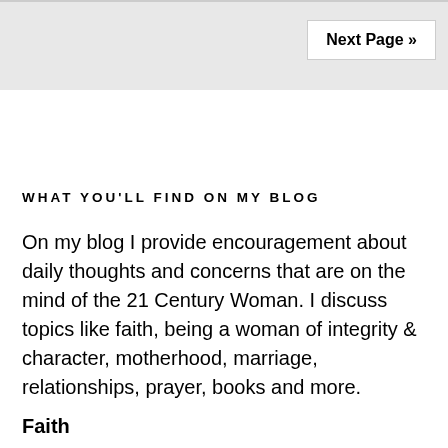Next Page »
WHAT YOU'LL FIND ON MY BLOG
On my blog I provide encouragement about daily thoughts and concerns that are on the mind of the 21 Century Woman. I discuss topics like faith, being a woman of integrity & character, motherhood, marriage, relationships, prayer, books and more.
Faith